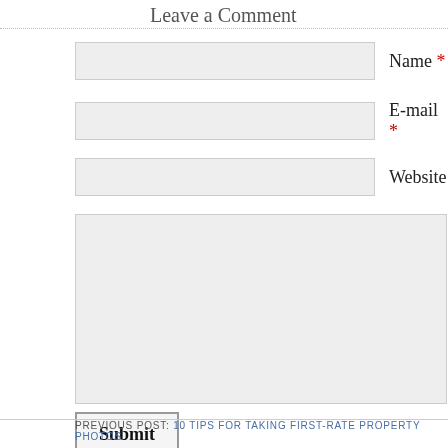Leave a Comment
Name *
E-mail *
Website
Submit
PREVIOUS POST: 10 Tips for Taking First-Rate Property Photos